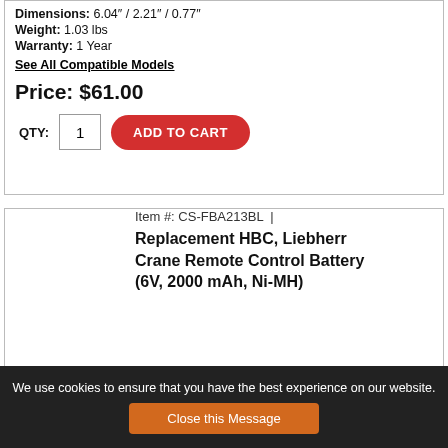Dimensions: 6.04″ / 2.21″ / 0.77″
Weight: 1.03 lbs
Warranty: 1 Year
See All Compatible Models
Price: $61.00
QTY: 1  ADD TO CART
Item #: CS-FBA213BL  |  Replacement HBC, Liebherr Crane Remote Control Battery (6V, 2000 mAh, Ni-MH)
Voltage: 6 Volt / 2000 mAh
We use cookies to ensure that you have the best experience on our website.  Close this Message